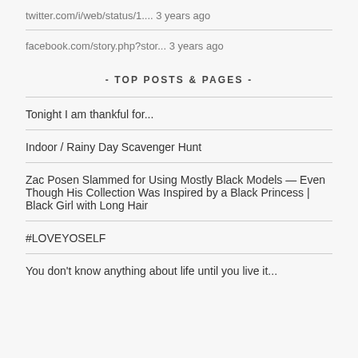twitter.com/i/web/status/1.... 3 years ago
facebook.com/story.php?stor... 3 years ago
- TOP POSTS & PAGES -
Tonight I am thankful for...
Indoor / Rainy Day Scavenger Hunt
Zac Posen Slammed for Using Mostly Black Models — Even Though His Collection Was Inspired by a Black Princess | Black Girl with Long Hair
#LOVEYOSELF
You don't know anything about life until you live it...